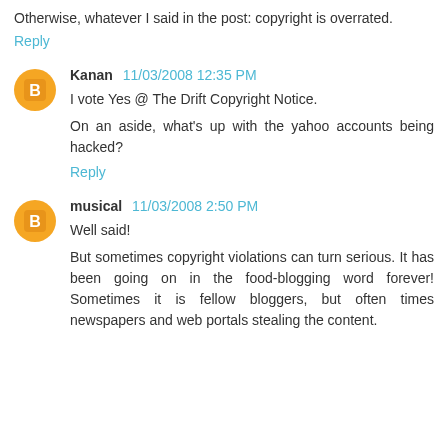Otherwise, whatever I said in the post: copyright is overrated.
Reply
Kanan 11/03/2008 12:35 PM
I vote Yes @ The Drift Copyright Notice.
On an aside, what's up with the yahoo accounts being hacked?
Reply
musical 11/03/2008 2:50 PM
Well said!
But sometimes copyright violations can turn serious. It has been going on in the food-blogging word forever! Sometimes it is fellow bloggers, but often times newspapers and web portals stealing the content.